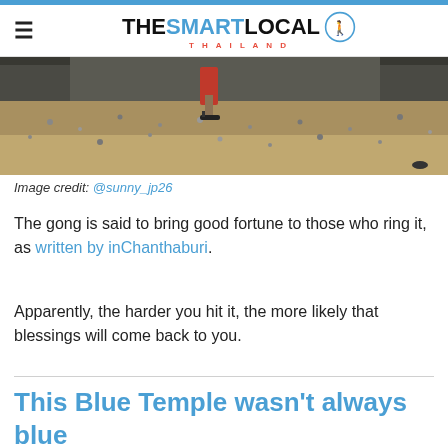THE SMART LOCAL THAILAND
[Figure (photo): Photo showing the lower portion of a person's legs and sandaled feet on a gravel/pebble surface, with a dark overhang above.]
Image credit: @sunny_jp26
The gong is said to bring good fortune to those who ring it, as written by inChanthaburi.
Apparently, the harder you hit it, the more likely that blessings will come back to you.
This Blue Temple wasn't always blue
Now that we know what Wat Pak Nam Khaem Nu looks like,